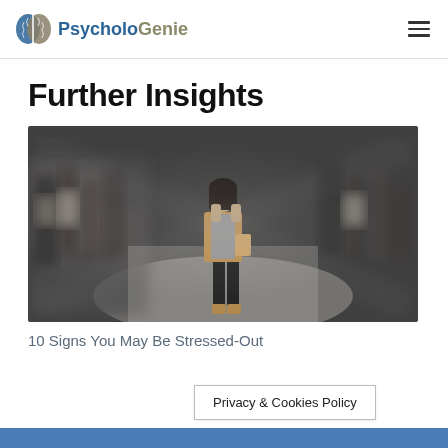PsycholoGenie
Further Insights
[Figure (photo): A woman standing in the middle of a blurred crowd, looking anxious, hands raised to her face, in a busy public space with motion blur effect on surrounding people.]
10 Signs You May Be Stressed-Out
Privacy & Cookies Policy